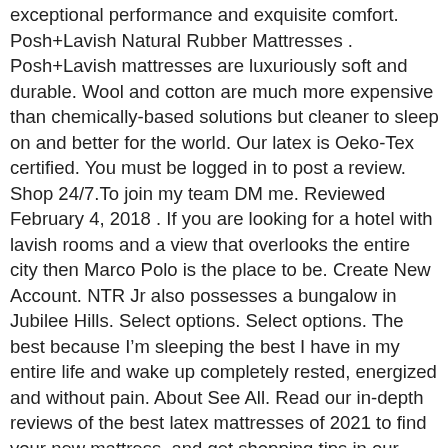exceptional performance and exquisite comfort. Posh+Lavish Natural Rubber Mattresses . Posh+Lavish mattresses are luxuriously soft and durable. Wool and cotton are much more expensive than chemically-based solutions but cleaner to sleep on and better for the world. Our latex is Oeko-Tex certified. You must be logged in to post a review. Shop 24/7.To join my team DM me. Reviewed February 4, 2018 . If you are looking for a hotel with lavish rooms and a view that overlooks the entire city then Marco Polo is the place to be. Create New Account. NTR Jr also possesses a bungalow in Jubilee Hills. Select options. Select options. The best because Iâm sleeping the best I have in my entire life and wake up completely rested, energized and without pain. About See All. Read our in-depth reviews of the best latex mattresses of 2021 to find your new mattress, and get shopping tips in our buyerâs guide. A Posh+Lavish mattress is one of lifeâs genuine